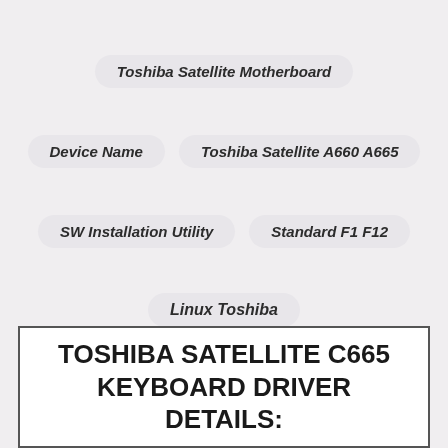Toshiba Satellite Motherboard
Device Name
Toshiba Satellite A660 A665
SW Installation Utility
Standard F1 F12
Linux Toshiba
Toshiba Satellite C655 S5542
TOSHIBA SATELLITE C665 KEYBOARD DRIVER DETAILS: